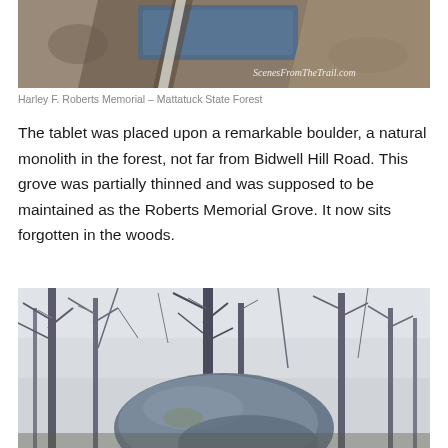[Figure (photo): Close-up photo of a memorial tablet/plaque set into a large rocky boulder in a forest. The plaque appears blue and metallic. Watermark 'ScenesFromTheTrail.com' visible in lower right.]
Harley F. Roberts Memorial – Mattatuck State Forest
The tablet was placed upon a remarkable boulder, a natural monolith in the forest, not far from Bidwell Hill Road. This grove was partially thinned and was supposed to be maintained as the Roberts Memorial Grove. It now sits forgotten in the woods.
[Figure (photo): Photo of a large boulder in a winter forest scene with bare trees and a gray sky. The large rock formation is prominent in the center of the image.]